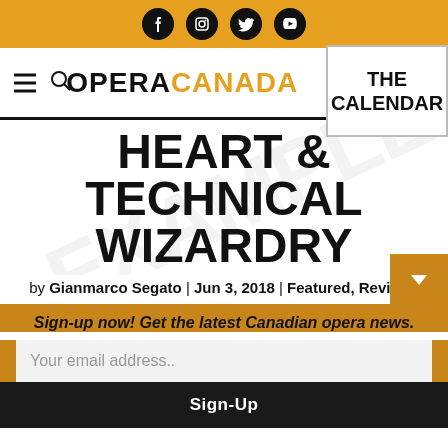Social media icons: Facebook, Instagram, Twitter, YouTube
[Figure (logo): Opera Canada logo with hamburger menu, search icon, and THE CALENDAR box overlay]
HEART & TECHNICAL WIZARDRY
by Gianmarco Segato | Jun 3, 2018 | Featured, Reviews
Sign-up now! Get the latest Canadian opera news.
Your email address..
Sign-Up